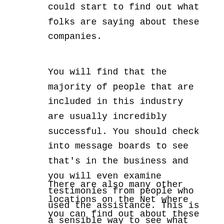could start to find out what folks are saying about these companies.
You will find that the majority of people that are included in this industry are usually incredibly successful. You should check into message boards to see that's in the business and you will even examine testimonies from people who used the assistance. This is a sensible way to see what people think about these businesses and what the enterprise has to offer.
There are also many other locations on the Net where you can find out about these services. You should try going to a discussion board where individuals have a lot of encounter in this field. This